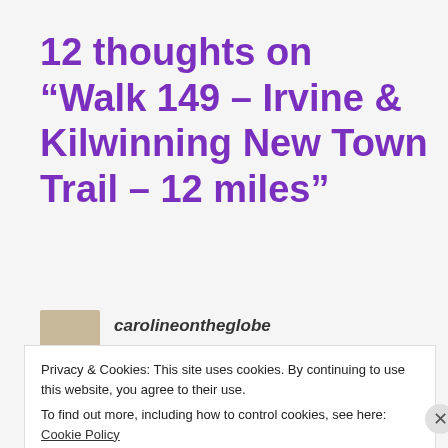12 thoughts on “Walk 149 – Irvine & Kilwinning New Town Trail – 12 miles”
carolineontheglobe   October 16, 2017 at 9:31 pm
Privacy & Cookies: This site uses cookies. By continuing to use this website, you agree to their use.
To find out more, including how to control cookies, see here: Cookie Policy
Close and accept